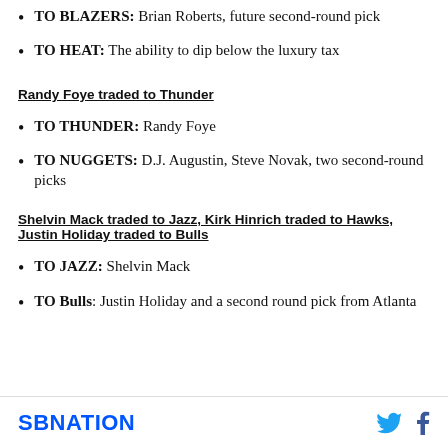TO BLAZERS: Brian Roberts, future second-round pick
TO HEAT: The ability to dip below the luxury tax
Randy Foye traded to Thunder
TO THUNDER: Randy Foye
TO NUGGETS: D.J. Augustin, Steve Novak, two second-round picks
Shelvin Mack traded to Jazz, Kirk Hinrich traded to Hawks, Justin Holiday traded to Bulls
TO JAZZ: Shelvin Mack
TO Bulls: Justin Holiday and a second round pick from Atlanta
SBNATION